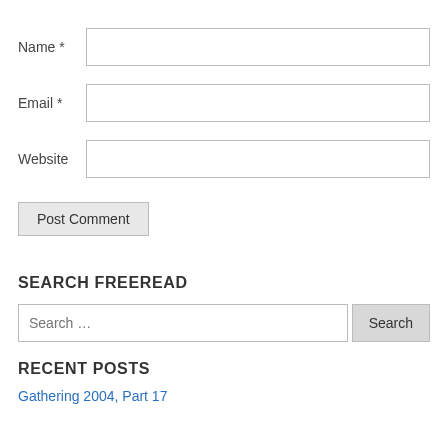Name *
Email *
Website
Post Comment
SEARCH FREEREAD
Search …
RECENT POSTS
Gathering 2004, Part 17